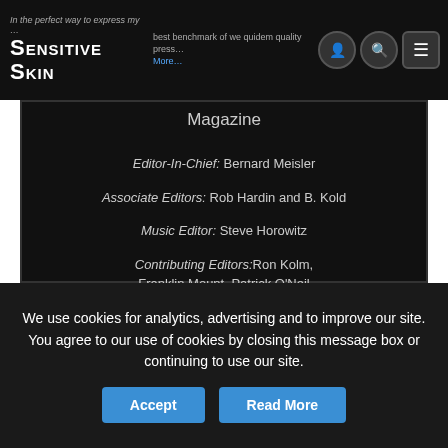Sensitive Skin
Sensitive Skin Magazine
Editor-In-Chief: Bernard Meisler
Associate Editors: Rob Hardin and B. Kold
Music Editor: Steve Horowitz
Contributing Editors: Ron Kolm, Franklin Mount, Patrick O'Neil
We use cookies for analytics, advertising and to improve our site. You agree to our use of cookies by closing this message box or continuing to use our site.